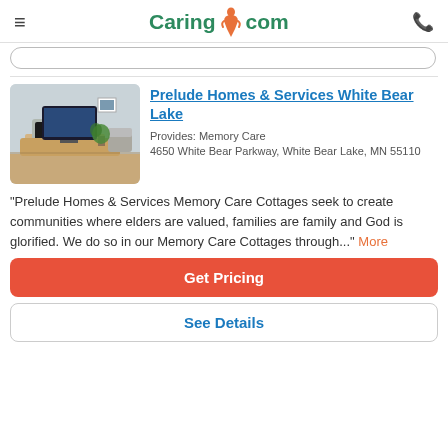Caring.com
[Figure (photo): Interior room photo showing a fireplace with a TV on a wooden cabinet, a chair, and green plant, in a cozy living space.]
Prelude Homes & Services White Bear Lake
Provides: Memory Care
4650 White Bear Parkway, White Bear Lake, MN 55110
"Prelude Homes & Services Memory Care Cottages seek to create communities where elders are valued, families are family and God is glorified. We do so in our Memory Care Cottages through..." More
Get Pricing
See Details